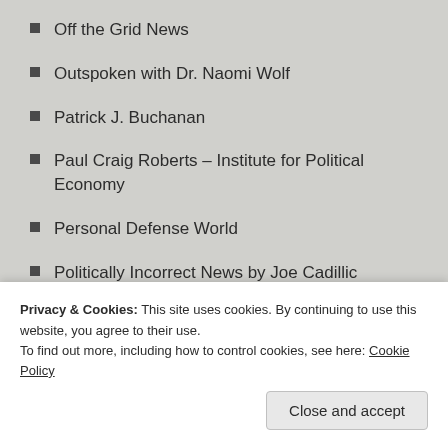Off the Grid News
Outspoken with Dr. Naomi Wolf
Patrick J. Buchanan
Paul Craig Roberts – Institute for Political Economy
Personal Defense World
Politically Incorrect News by Joe Cadillic (formerly MassPrivateI)
Postcards From Barsoom
Prepper's Will
Real Clear Politics
Red State
Responsible Statecraft
Privacy & Cookies: This site uses cookies. By continuing to use this website, you agree to their use.
To find out more, including how to control cookies, see here: Cookie Policy
Close and accept